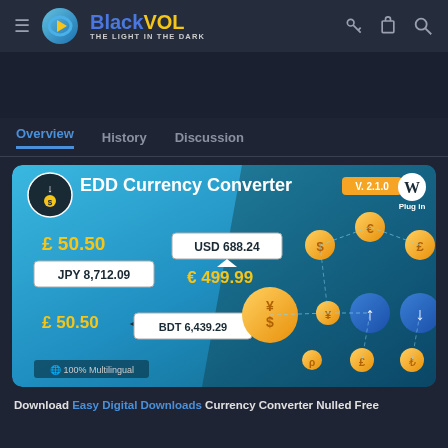[Figure (screenshot): BlackVOL website header with logo, hamburger menu, and icons for key, cart, and search]
Overview  History  Discussion
[Figure (screenshot): EDD Currency Converter plugin banner v.2.1.0 showing currency conversion examples: £50.50, JPY 8,712.09, USD 688.24, €499.99, £50.50, BDT 6,439.29 with currency symbols and WordPress plugin logo]
Download Easy Digital Downloads Currency Converter Nulled Free